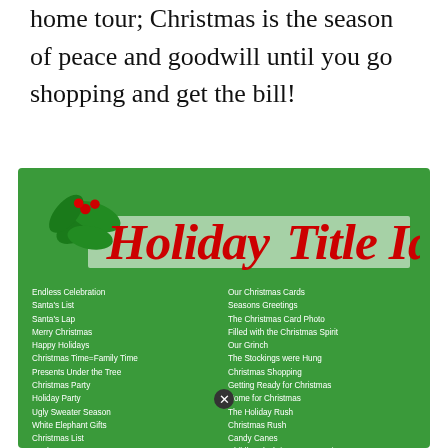home tour; Christmas is the season of peace and goodwill until you go shopping and get the bill!
[Figure (infographic): Holiday Title Ideas infographic on a green background with holly decoration and two columns of Christmas-themed title suggestions]
Endless Celebration
Santa's List
Santa's Lap
Merry Christmas
Happy Holidays
Christmas Time=Family Time
Presents Under the Tree
Christmas Party
Holiday Party
Ugly Sweater Season
White Elephant Gifts
Christmas List
Noel
JOY to the World
Christmas Morning
Christmas Traditions
The Most Wonderful time of the Year
Christmas Blessings
Christmas Mornings
Our Christmas Cards
Seasons Greetings
The Christmas Card Photo
Filled with the Christmas Spirit
Our Grinch
The Stockings were Hung
Christmas Shopping
Getting Ready for Christmas
Home for Christmas
The Holiday Rush
Christmas Rush
Candy Canes
Childhood Christmas Memories
Christmas when I was a Kid
The Dreaded Events of the Holidays
Snowflakes are Falling
Santa's Elves
Full of Christmas Cheer
Sparkle and Shine it's Christmastime